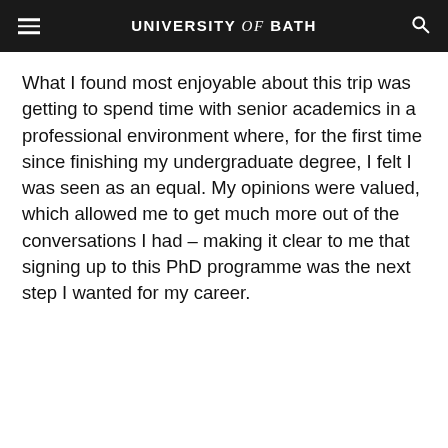UNIVERSITY of BATH
What I found most enjoyable about this trip was getting to spend time with senior academics in a professional environment where, for the first time since finishing my undergraduate degree, I felt I was seen as an equal. My opinions were valued, which allowed me to get much more out of the conversations I had – making it clear to me that signing up to this PhD programme was the next step I wanted for my career.